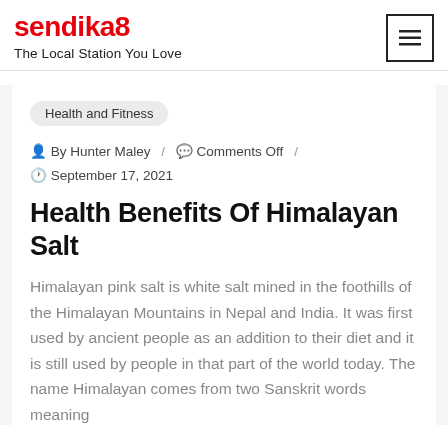sendika8 — The Local Station You Love
Health and Fitness
By Hunter Maley / Comments Off / September 17, 2021
Health Benefits Of Himalayan Salt
Himalayan pink salt is white salt mined in the foothills of the Himalayan Mountains in Nepal and India. It was first used by ancient people as an addition to their diet and it is still used by people in that part of the world today. The name Himalayan comes from two Sanskrit words meaning